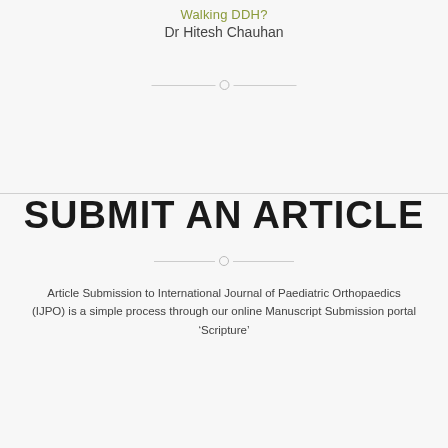Walking DDH?
Dr Hitesh Chauhan
SUBMIT AN ARTICLE
Article Submission to International Journal of Paediatric Orthopaedics (IJPO) is a simple process through our online Manuscript Submission portal ‘Scripture’